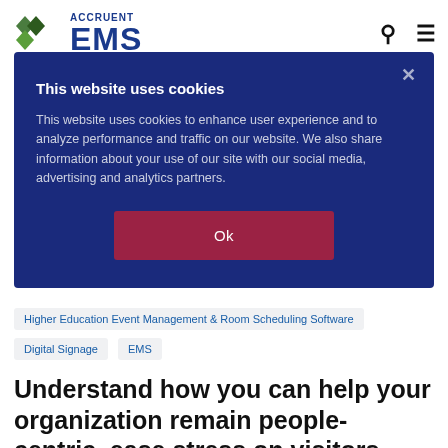[Figure (logo): Accruent EMS logo with green diamond/leaf icon and dark blue bold text reading ACCRUENT EMS]
[Figure (screenshot): Cookie consent modal overlay on dark navy blue background with close X button, bold white title 'This website uses cookies', gray body text, and a crimson/dark red Ok button]
Higher Education Event Management & Room Scheduling Software
Digital Signage
EMS
Understand how you can help your organization remain people-centric, ease stress on visitors, and promote seamless navigation through wayfinding tools